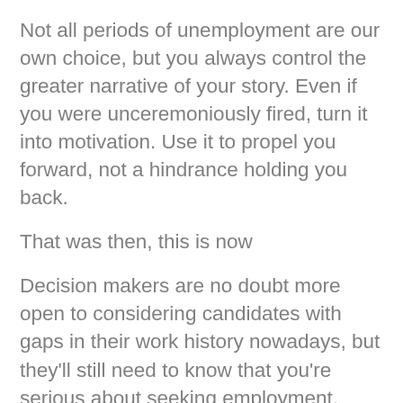Not all periods of unemployment are our own choice, but you always control the greater narrative of your story. Even if you were unceremoniously fired, turn it into motivation. Use it to propel you forward, not a hindrance holding you back.
That was then, this is now
Decision makers are no doubt more open to considering candidates with gaps in their work history nowadays, but they'll still need to know that you're serious about seeking employment.
Be sure to make it clear that today – in the here and now – you're absolutely chomping at the